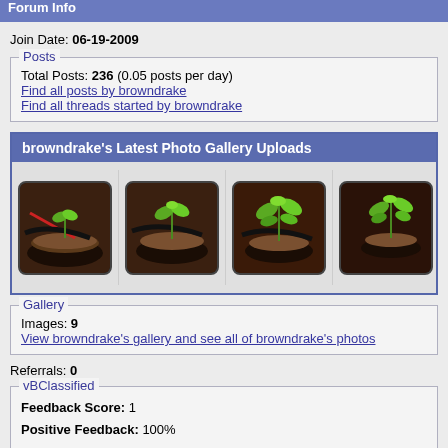Forum Info
Join Date: 06-19-2009
Posts
Total Posts: 236 (0.05 posts per day)
Find all posts by browndrake
Find all threads started by browndrake
browndrake's Latest Photo Gallery Uploads
[Figure (photo): Four thumbnail photos of plant seedlings growing in black round containers with soil]
Gallery
Images: 9
View browndrake's gallery and see all of browndrake's photos
Referrals: 0
vBClassified
Feedback Score: 1
Positive Feedback: 100%
See Classified Profile: Click Here